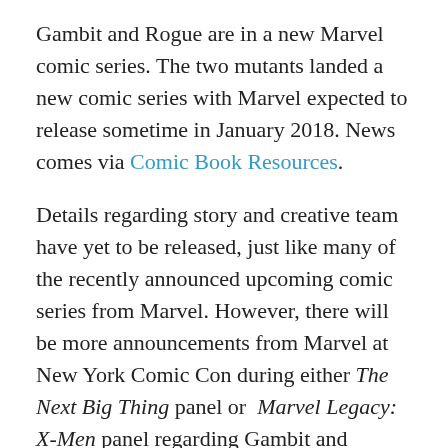Gambit and Rogue are in a new Marvel comic series. The two mutants landed a new comic series with Marvel expected to release sometime in January 2018. News comes via Comic Book Resources.
Details regarding story and creative team have yet to be released, just like many of the recently announced upcoming comic series from Marvel. However, there will be more announcements from Marvel at New York Comic Con during either The Next Big Thing panel or Marvel Legacy: X-Men panel regarding Gambit and Rogue's series. Marvel did however release a preview of the cover art!
Check out the cover art below:
[Figure (logo): Rogue & Gambit comic book logo with an X shape in yellow-green and the text ROGUE GAMBIT in stylized bold lettering]